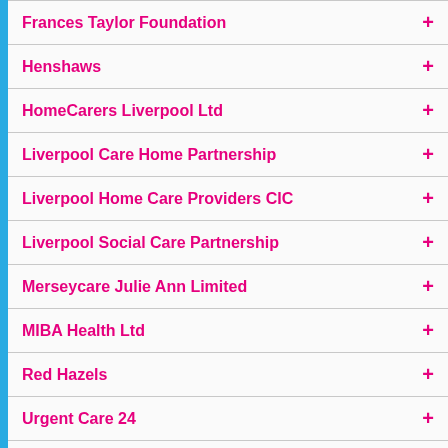Frances Taylor Foundation
Henshaws
HomeCarers Liverpool Ltd
Liverpool Care Home Partnership
Liverpool Home Care Providers CIC
Liverpool Social Care Partnership
Merseycare Julie Ann Limited
MIBA Health Ltd
Red Hazels
Urgent Care 24
Wellbeing Enterprises CiC
Support Functions